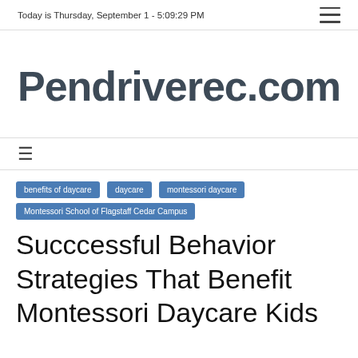Today is Thursday, September 1 - 5:09:29 PM
Pendriverec.com
benefits of daycare
daycare
montessori daycare
Montessori School of Flagstaff Cedar Campus
Succcessful Behavior Strategies That Benefit Montessori Daycare Kids